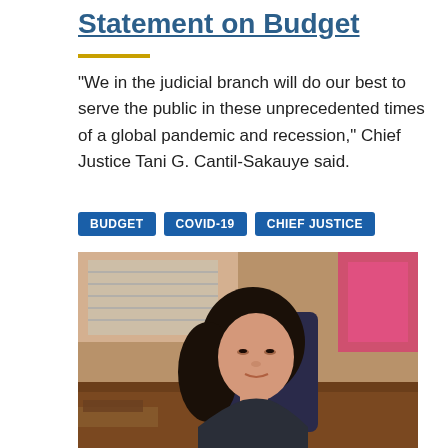Statement on Budget
"We in the judicial branch will do our best to serve the public in these unprecedented times of a global pandemic and recession," Chief Justice Tani G. Cantil-Sakauye said.
BUDGET
COVID-19
CHIEF JUSTICE
[Figure (photo): Chief Justice Tani G. Cantil-Sakauye seated at a desk in an office setting, wearing a dark jacket and pearl necklace, looking to the side.]